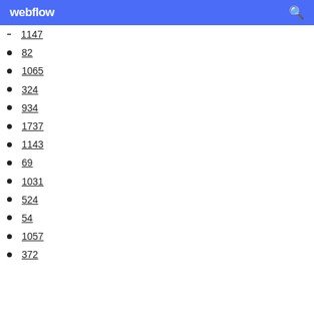webflow
1147
82
1065
324
934
1737
1143
69
1031
524
54
1057
372